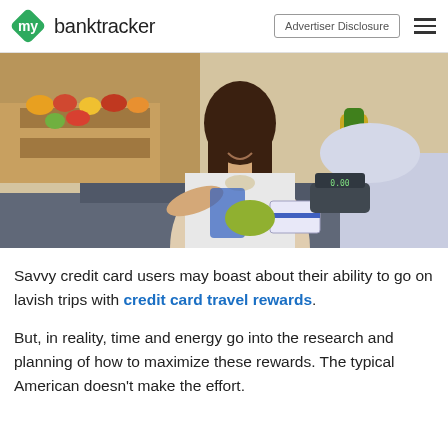mybanktracker | Advertiser Disclosure
[Figure (photo): Woman smiling at grocery store checkout counter handing a card, with produce visible in background; another person's arm visible in foreground]
Savvy credit card users may boast about their ability to go on lavish trips with credit card travel rewards.
But, in reality, time and energy go into the research and planning of how to maximize these rewards. The typical American doesn't make the effort.